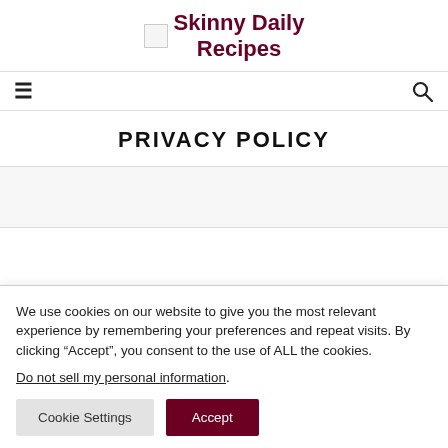Skinny Daily Recipes
[Figure (logo): Small image placeholder icon next to site title]
PRIVACY POLICY
We use cookies on our website to give you the most relevant experience by remembering your preferences and repeat visits. By clicking “Accept”, you consent to the use of ALL the cookies.
Do not sell my personal information.